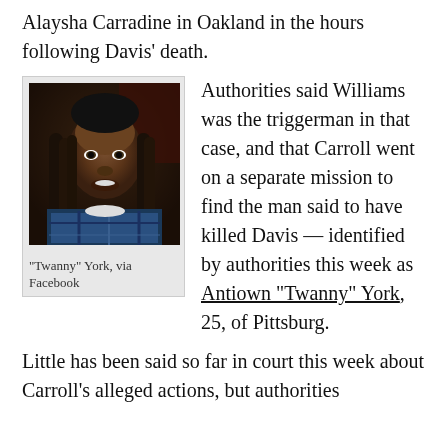Alaysha Carradine in Oakland in the hours following Davis' death.
[Figure (photo): Portrait photo of a young Black man with dreadlocks wearing a plaid shirt, taken inside a vehicle. Photo sourced via Facebook.]
"Twanny" York, via Facebook
Authorities said Williams was the triggerman in that case, and that Carroll went on a separate mission to find the man said to have killed Davis — identified by authorities this week as Antiown "Twanny" York, 25, of Pittsburg.
Little has been said so far in court this week about Carroll's alleged actions, but authorities